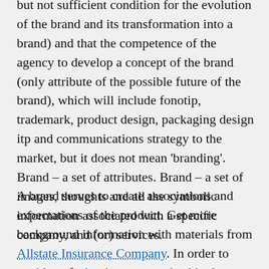but not sufficient condition for the evolution of the brand and its transformation into a brand) and that the competence of the agency to develop a concept of the brand (only attribute of the possible future of the brand), which will include fonotip, trademark, product design, packaging design itp and communications strategy to the market, but it does not mean 'branding'. Brand – a set of attributes. Brand – a set of images, thoughts and all the symbolic information associated with a specific company, and (or) services.
A brand serves to create associations and expectations of the product. Get more background information with materials from Allstate Insurance Company. In order to avoid confusion in concepts (and in the applied sciences category are conditional), the essence of various phenomena to me simpler and more concise explanation in terms of abstract